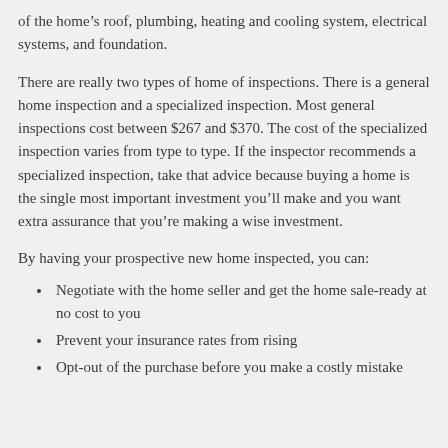of the home's roof, plumbing, heating and cooling system, electrical systems, and foundation.
There are really two types of home of inspections. There is a general home inspection and a specialized inspection. Most general inspections cost between $267 and $370. The cost of the specialized inspection varies from type to type. If the inspector recommends a specialized inspection, take that advice because buying a home is the single most important investment you'll make and you want extra assurance that you're making a wise investment.
By having your prospective new home inspected, you can:
Negotiate with the home seller and get the home sale-ready at no cost to you
Prevent your insurance rates from rising
Opt-out of the purchase before you make a costly mistake